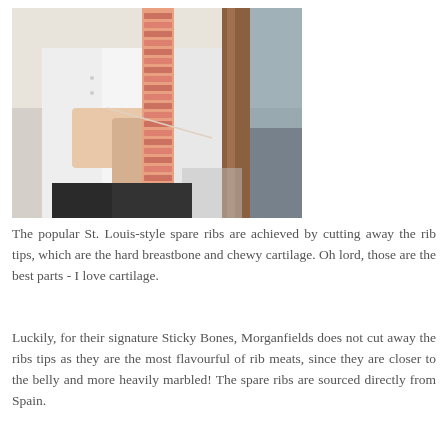[Figure (photo): A chef in white uniform holding a large rack of spare ribs vertically, showing the full length of the ribs. Background shows a restaurant kitchen or dining area.]
The popular St. Louis-style spare ribs are achieved by cutting away the rib tips, which are the hard breastbone and chewy cartilage. Oh lord, those are the best parts - I love cartilage.
Luckily, for their signature Sticky Bones, Morganfields does not cut away the ribs tips as they are the most flavourful of rib meats, since they are closer to the belly and more heavily marbled! The spare ribs are sourced directly from Spain.